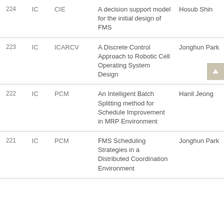| # | Type | Venue | Title | Author |
| --- | --- | --- | --- | --- |
| 224 | IC | CIE | A decision support model for the initial design of FMS | Hosub Shin |
| 223 | IC | ICARCV | A Discrete Control Approach to Robotic Cell Operating System Design | Jonghun Park |
| 222 | IC | PCM | An Intelligent Batch Splitting method for Schedule Improvement in MRP Environment | Hanil Jeong |
| 221 | IC | PCM | FMS Scheduling Strategies in a Distributed Coordination Environment | Jonghun Park |